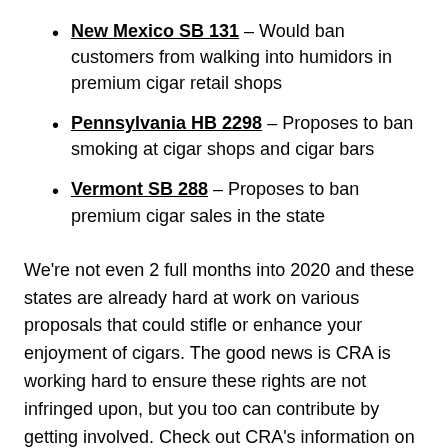New Mexico SB 131 – Would ban customers from walking into humidors in premium cigar retail shops
Pennsylvania HB 2298 – Proposes to ban smoking at cigar shops and cigar bars
Vermont SB 288 – Proposes to ban premium cigar sales in the state
We're not even 2 full months into 2020 and these states are already hard at work on various proposals that could stifle or enhance your enjoyment of cigars. The good news is CRA is working hard to ensure these rights are not infringed upon, but you too can contribute by getting involved. Check out CRA's information on contacting your state government officials here. Visit